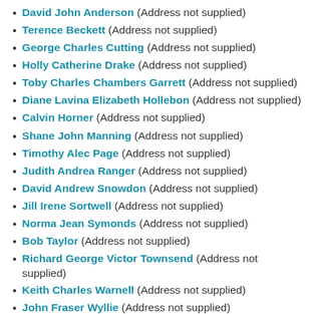David John Anderson (Address not supplied)
Terence Beckett (Address not supplied)
George Charles Cutting (Address not supplied)
Holly Catherine Drake (Address not supplied)
Toby Charles Chambers Garrett (Address not supplied)
Diane Lavina Elizabeth Hollebon (Address not supplied)
Calvin Horner (Address not supplied)
Shane John Manning (Address not supplied)
Timothy Alec Page (Address not supplied)
Judith Andrea Ranger (Address not supplied)
David Andrew Snowdon (Address not supplied)
Jill Irene Sortwell (Address not supplied)
Norma Jean Symonds (Address not supplied)
Bob Taylor (Address not supplied)
Richard George Victor Townsend (Address not supplied)
Keith Charles Warnell (Address not supplied)
John Fraser Wyllie (Address not supplied)